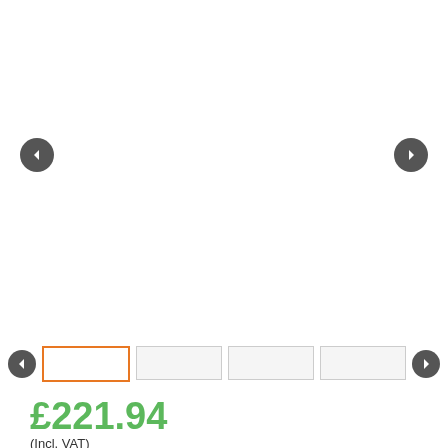[Figure (photo): Product image carousel area with left and right navigation arrow buttons on a white background]
[Figure (screenshot): Thumbnail strip with four image thumbnails, first one selected with orange border, navigation arrows on each side]
£221.94
(Incl. VAT)
Regular Price: £437.94